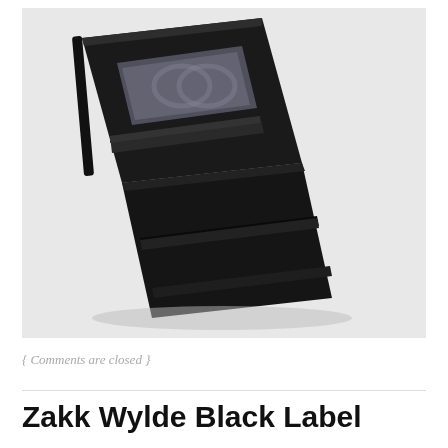[Figure (photo): An open black leather bifold wallet photographed from above at an angle, showing the interior with a clear ID window on the left side and card/bill slots on the right side. The wallet is displayed against a white background.]
{ Comments are closed }
Zakk Wylde Black Label